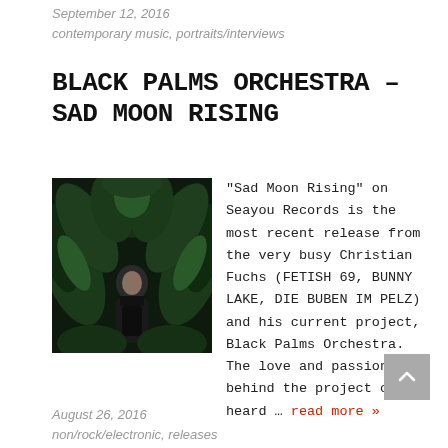September 12, 2016
contemporary music, portraits/interviews
BLACK PALMS ORCHESTRA – SAD MOON RISING
[Figure (photo): Album/artist photo for Black Palms Orchestra – Sad Moon Rising: a man in dark clothing surrounded by lush dark tropical foliage and mirrored botanical imagery on a dark background]
“Sad Moon Rising” on Seayou Records is the most recent release from the very busy Christian Fuchs (FETISH 69, BUNNY LAKE, DIE BUBEN IM PELZ) and his current project, Black Palms Orchestra. The love and passion behind the project can be heard … read more »
August 26, 2016
non/rock/electronic, releases